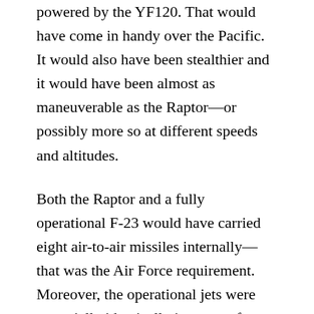powered by the YF120. That would have come in handy over the Pacific. It would also have been stealthier and it would have been almost as maneuverable as the Raptor—or possibly more so at different speeds and altitudes.
Both the Raptor and a fully operational F-23 would have carried eight air-to-air missiles internally—that was the Air Force requirement. Moreover, the operational jets were essentially identically in terms of avionics—both competitors had proposed similar avionics suites. In fact, the Raptor ended up with the radar that was originally proposed for the YF-23.
Ultimately, the Air Force ended up with an